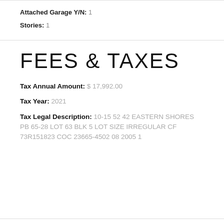Attached Garage Y/N: 1
Stories: 1
FEES & TAXES
Tax Annual Amount: $ 17,992.00
Tax Year: 2021
Tax Legal Description: 10-15 52 42 EASTERN SHORES PB 65-28 LOT 63 BLK 5 LOT SIZE IRREGULAR CF 73R151823 COC 23665-4502 08 2005 1